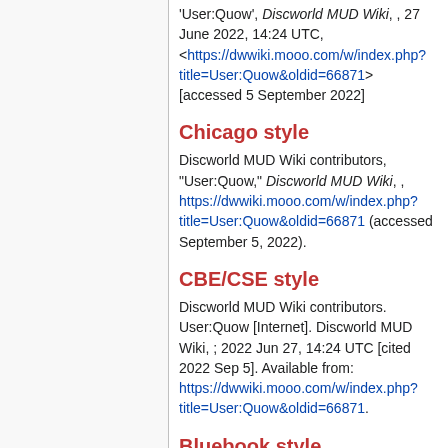'User:Quow', Discworld MUD Wiki, , 27 June 2022, 14:24 UTC, <https://dwwiki.mooo.com/w/index.php?title=User:Quow&oldid=66871> [accessed 5 September 2022]
Chicago style
Discworld MUD Wiki contributors, "User:Quow," Discworld MUD Wiki, , https://dwwiki.mooo.com/w/index.php?title=User:Quow&oldid=66871 (accessed September 5, 2022).
CBE/CSE style
Discworld MUD Wiki contributors. User:Quow [Internet]. Discworld MUD Wiki, ; 2022 Jun 27, 14:24 UTC [cited 2022 Sep 5]. Available from: https://dwwiki.mooo.com/w/index.php?title=User:Quow&oldid=66871.
Bluebook style
User:Quow,